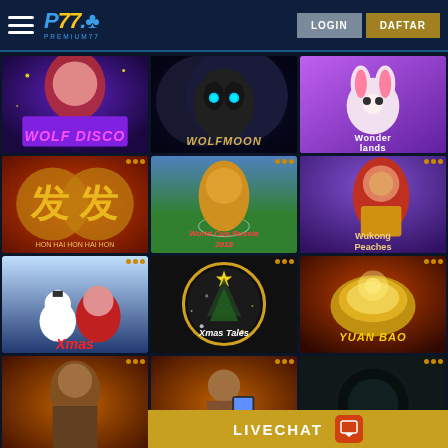Premium77 - LOGIN DAFTAR
[Figure (screenshot): Wolf Disco slot game thumbnail - man with wolf theme, purple/red background]
[Figure (screenshot): Wolf Moon slot game thumbnail - dark wolf with glowing blue eyes]
[Figure (screenshot): Wonderland slot game thumbnail - cartoon rabbit with colorful background]
[Figure (screenshot): Chinese slot game thumbnail - gold characters on red/gold background]
[Figure (screenshot): World Cup Russia 2018 slot game thumbnail - gold wolf in soccer uniform]
[Figure (screenshot): Wukong Peaches slot game thumbnail - warrior character on purple background]
[Figure (screenshot): Xmas slot game thumbnail - snowman and Santa Claus Christmas scene]
[Figure (screenshot): Xmas Tales slot game thumbnail - Christmas tree with stars on dark background]
[Figure (screenshot): Yuan Bao slot game thumbnail - gold ingot treasure on red background]
[Figure (screenshot): Warrior slot game thumbnail - powerful warrior character]
[Figure (screenshot): Mobile game thumbnail - person holding phone]
[Figure (screenshot): Dark themed slot game thumbnail - partially visible]
LIVECHAT